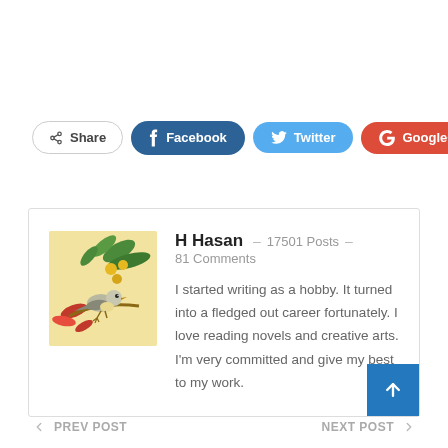[Figure (infographic): Social share buttons row: Share, Facebook, Twitter, Google+, plus button]
[Figure (infographic): Author bio box with bird illustration avatar, name H Hasan, 17501 Posts, 81 Comments, and bio text]
H Hasan  –  17501 Posts  –  81 Comments
I started writing as a hobby. It turned into a fledged out career fortunately. I love reading novels and creative arts. I'm very committed and give my best to my work.
← PREV POST    NEXT POST →